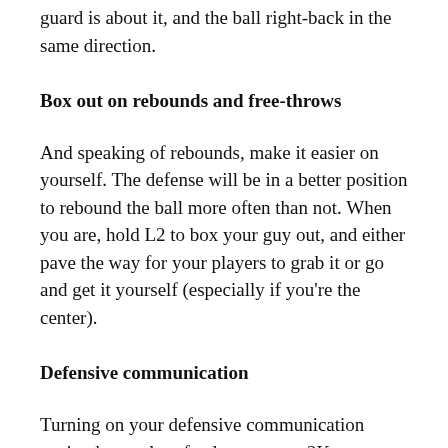guard is about it, and the ball right-back in the same direction.
Box out on rebounds and free-throws
And speaking of rebounds, make it easier on yourself. The defense will be in a better position to rebound the ball more often than not. When you are, hold L2 to box your guy out, and either pave the way for your players to grab it or go and get it yourself (especially if you're the center).
Defensive communication
Turning on your defensive communication setting have a lot of value to many 2K gamers. When defensive communication is on, a little indicator will appear above your head assisting you in many things on the defensive side of the ball. From